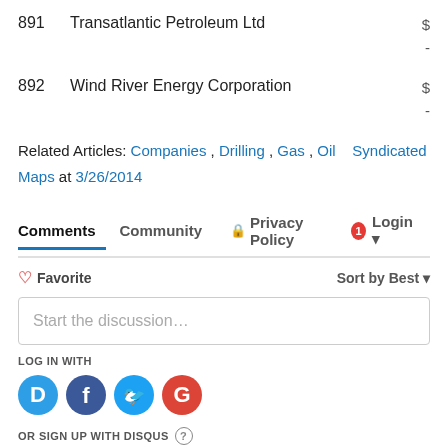| # | Company | Value |
| --- | --- | --- |
| 891 | Transatlantic Petroleum Ltd | $ - |
| 892 | Wind River Energy Corporation | $ - |
Related Articles: Companies , Drilling , Gas , Oil    Syndicated Maps at 3/26/2014
Comments  Community  Privacy Policy  1  Login
♡ Favorite    Sort by Best
Start the discussion…
LOG IN WITH
[Figure (other): Social login icons: Disqus (D), Facebook (f), Twitter bird, Google (G)]
OR SIGN UP WITH DISQUS ?
Name